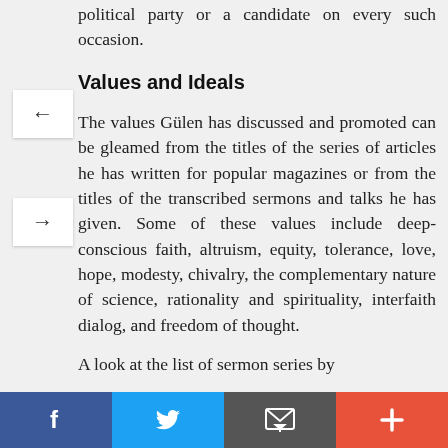political party or a candidate on every such occasion.
Values and Ideals
The values Gülen has discussed and promoted can be gleamed from the titles of the series of articles he has written for popular magazines or from the titles of the transcribed sermons and talks he has given. Some of these values include deep-conscious faith, altruism, equity, tolerance, love, hope, modesty, chivalry, the complementary nature of science, rationality and spirituality, interfaith dialog, and freedom of thought.
A look at the list of sermon series by
f  t  [email icon]  +